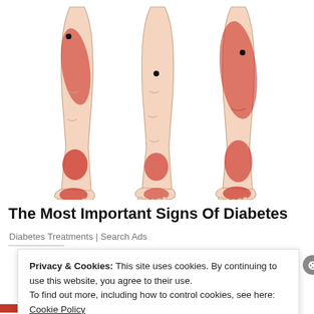[Figure (illustration): Three medical illustrations of human lower legs (calves and feet) showing red highlighted pain/inflammation areas at different spots: left leg shows red on calf and heel area, middle leg shows red primarily at heel, right leg shows large red area on calf and heel.]
The Most Important Signs Of Diabetes
Diabetes Treatments | Search Ads
Privacy & Cookies: This site uses cookies. By continuing to use this website, you agree to their use.
To find out more, including how to control cookies, see here: Cookie Policy
Close and accept